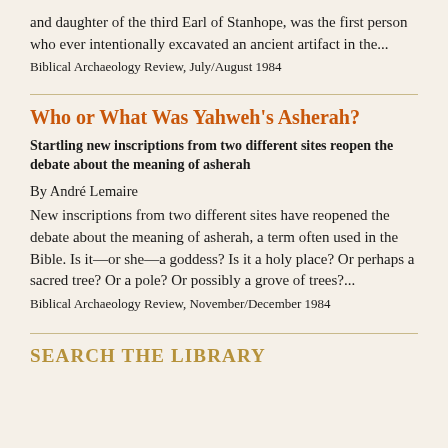and daughter of the third Earl of Stanhope, was the first person who ever intentionally excavated an ancient artifact in the...
Biblical Archaeology Review, July/August 1984
Who or What Was Yahweh's Asherah?
Startling new inscriptions from two different sites reopen the debate about the meaning of asherah
By André Lemaire
New inscriptions from two different sites have reopened the debate about the meaning of asherah, a term often used in the Bible. Is it—or she—a goddess? Is it a holy place? Or perhaps a sacred tree? Or a pole? Or possibly a grove of trees?...
Biblical Archaeology Review, November/December 1984
Search the Library